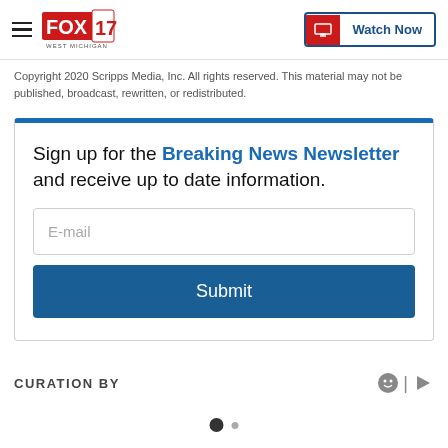FOX 17 WEST MICHIGAN — Watch Now
Copyright 2020 Scripps Media, Inc. All rights reserved. This material may not be published, broadcast, rewritten, or redistributed.
Sign up for the Breaking News Newsletter and receive up to date information.
E-mail
Submit
CURATION BY